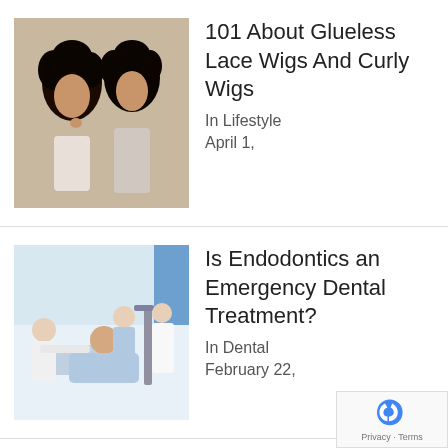[Figure (photo): Two women with curly hair wigs]
101 About Glueless Lace Wigs And Curly Wigs
In Lifestyle
April 1,
[Figure (photo): Dental professional treating a patient]
Is Endodontics an Emergency Dental Treatment?
In Dental
February 22,
[Figure (other): IKEA Stock: Is it possible to buy placeholder image]
IKEA Stock: Is it possible to buy IKEA stock in ?
In Business
February 9,